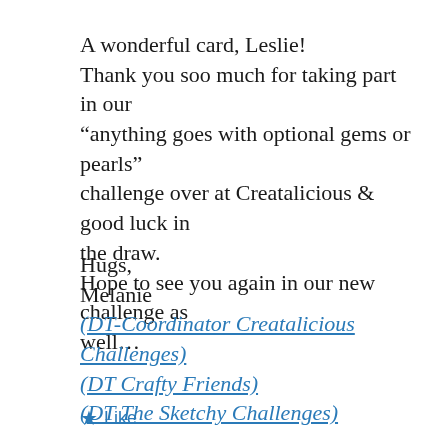A wonderful card, Leslie!
Thank you soo much for taking part in our “anything goes with optional gems or pearls” challenge over at Creatalicious & good luck in the draw.
Hope to see you again in our new challenge as well...
Hugs,
Melanie
(DT-Coordinator Creatalicious Challenges)
(DT Crafty Friends)
(DT The Sketchy Challenges)
Like